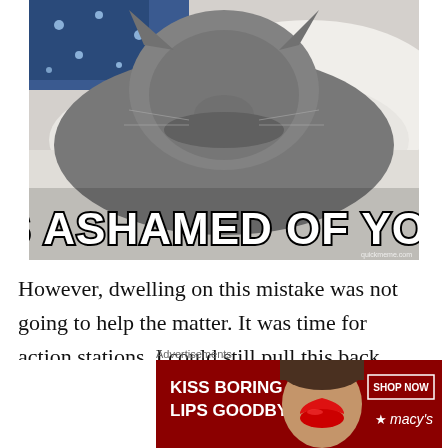[Figure (photo): Internet meme image showing a gray cat with its head down, looking ashamed or sad, lying on a white surface with a blue patterned fabric in the background. Large bold white text with black outline reads 'IS ASHAMED OF YOU'. Watermark reads 'quickmeme.com']
However, dwelling on this mistake was not going to help the matter.  It was time for action stations.  I could still pull this back, couldn't I?  I had built up some Y-cash
Advertisements
[Figure (screenshot): Advertisement banner for Macy's lipstick. Red background with white bold text 'KISS BORING LIPS GOODBYE' on the left, a woman's face with red lips in the center, and a 'SHOP NOW' button with Macy's star logo on the right.]